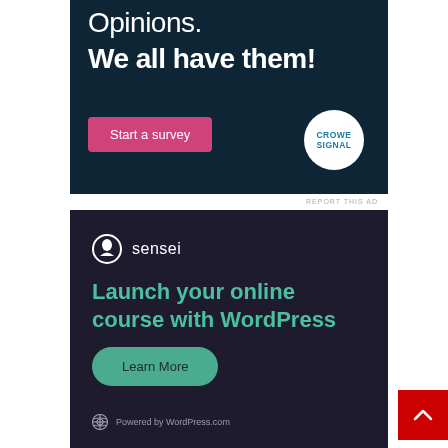[Figure (illustration): CrowdSignal ad banner with dark teal background. Text reads 'Opinions. We all have them!' with a pink 'Start a survey' button and CrowdSignal logo (white circle with teal text).]
REPORT THIS AD
[Figure (illustration): Sensei (WordPress plugin) ad banner with dark purple background. Shows Sensei logo icon and brand name, teal headline 'Launch your online course with WordPress', teal 'Learn More' button, and 'Powered by WordPress.com' footer.]
[Figure (illustration): Red scroll-to-top button with white upward chevron arrow.]